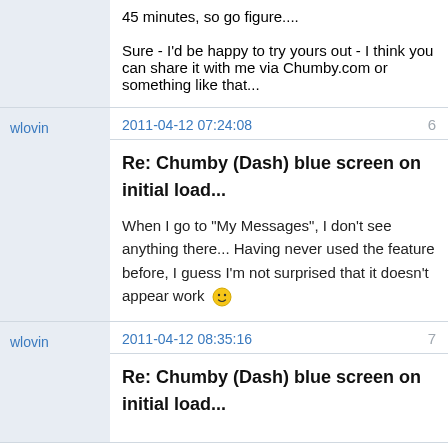45 minutes, so go figure....

Sure - I'd be happy to try yours out - I think you can share it with me via Chumby.com or something like that...
wlovin
2011-04-12 07:24:08
6
Re: Chumby (Dash) blue screen on initial load...
When I go to "My Messages", I don't see anything there... Having never used the feature before, I guess I'm not surprised that it doesn't appear work 🙂
wlovin
2011-04-12 08:35:16
7
Re: Chumby (Dash) blue screen on initial load...